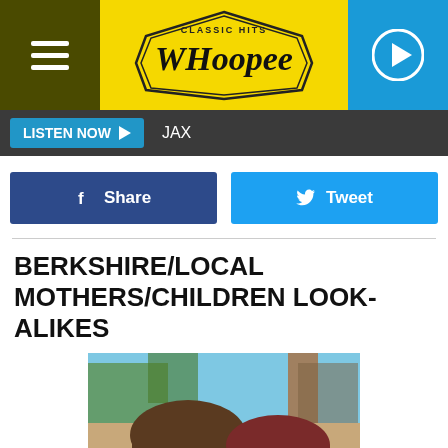Classic Hits WHOOPEE — radio station website header with hamburger menu and play button
LISTEN NOW ▶  JAX
f Share
Tweet
BERKSHIRE/LOCAL MOTHERS/CHILDREN LOOK-ALIKES
[Figure (photo): Photo of two young girls smiling, taken outdoors with trees and blue sky in the background. One has dark brown hair and the other has reddish-brown hair.]